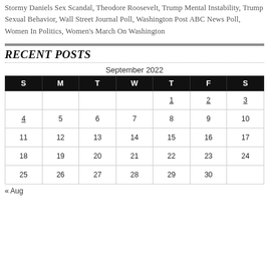Stormy Daniels Sex Scandal, Theodore Roosevelt, Trump Mental Instability, Trump Sexual Behavior, Wall Street Journal Poll, Washington Post ABC News Poll, Women In Politics, Women's March On Washington
RECENT POSTS
| S | M | T | W | T | F | S |
| --- | --- | --- | --- | --- | --- | --- |
|  |  |  |  | 1 | 2 | 3 |
| 4 | 5 | 6 | 7 | 8 | 9 | 10 |
| 11 | 12 | 13 | 14 | 15 | 16 | 17 |
| 18 | 19 | 20 | 21 | 22 | 23 | 24 |
| 25 | 26 | 27 | 28 | 29 | 30 |  |
« Aug